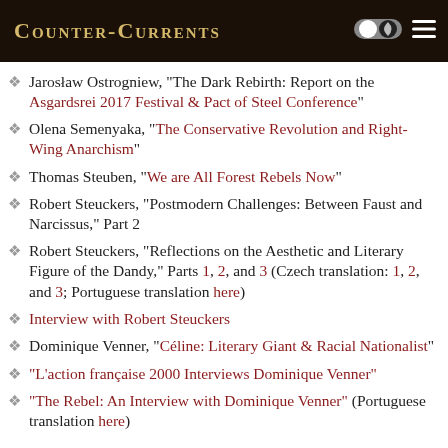Counter-Currents
Jarosław Ostrogniew, "The Dark Rebirth: Report on the Asgardsrei 2017 Festival & Pact of Steel Conference"
Olena Semenyaka, "The Conservative Revolution and Right-Wing Anarchism"
Thomas Steuben, "We are All Forest Rebels Now"
Robert Steuckers, "Postmodern Challenges: Between Faust and Narcissus," Part 2
Robert Steuckers, "Reflections on the Aesthetic and Literary Figure of the Dandy," Parts 1, 2, and 3 (Czech translation: 1, 2, and 3; Portuguese translation here)
Interview with Robert Steuckers
Dominique Venner, "Céline: Literary Giant & Racial Nationalist"
"L'action française 2000 Interviews Dominique Venner"
"The Rebel: An Interview with Dominique Venner" (Portuguese translation here)